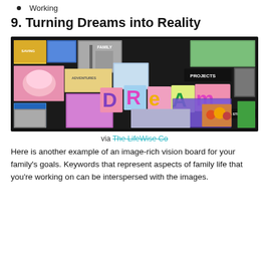Working
9. Turning Dreams into Reality
[Figure (photo): A colorful vision board featuring the word DREAM spelled out on colorful sticky notes, surrounded by magazine clippings of family, travel, food, outdoor life, projects, savings, and lifestyle goals.]
via The LifeWise Co
Here is another example of an image-rich vision board for your family's goals. Keywords that represent aspects of family life that you're working on can be interspersed with the images.